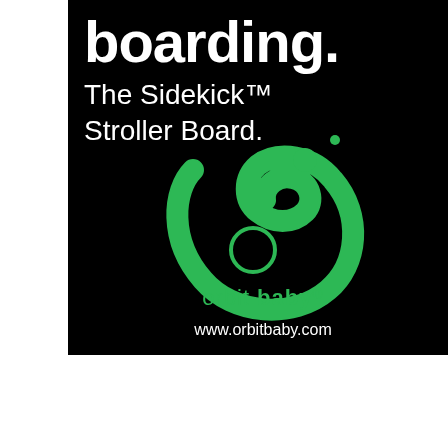[Figure (logo): Orbit Baby advertisement on black background featuring the text 'boarding.' in large bold white font, 'The Sidekick™ Stroller Board.' in white, the Orbit Baby green logo (stylized figure), the brand name 'orbit baby®' in green and white, and the website www.orbitbaby.com]
boarding.
The Sidekick™ Stroller Board.
orbit baby®
www.orbitbaby.com